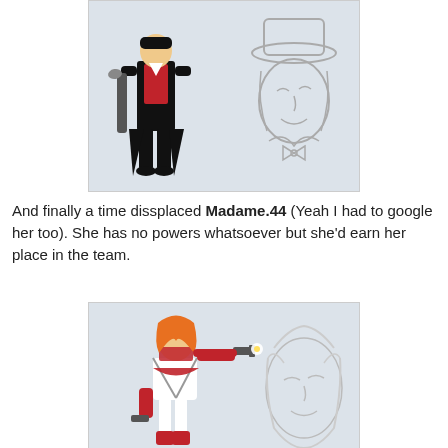[Figure (illustration): Two character illustrations: a stylized figure in a black suit with red vest holding a cane (left), and a pencil sketch portrait of a man in a hat with a bow tie (right), on a light blue-grey background.]
And finally a time dissplaced Madame.44 (Yeah I had to google her too). She has no powers whatsoever but she'd earn her place in the team.
[Figure (illustration): Two character illustrations: a colored action figure of a woman with red hair, red bandana and gloves, white corset outfit, holding two revolvers (left), and a pencil sketch portrait of a woman with light hair (right), on a light blue-grey background.]